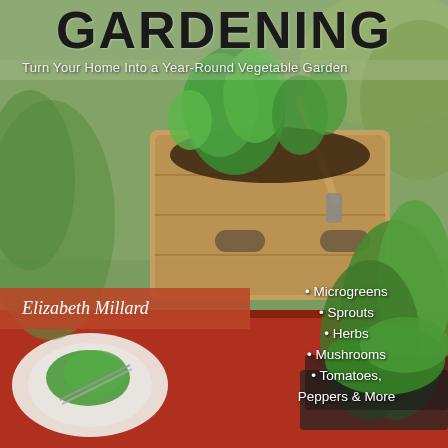GARDENING
Turn Your Home Into a Year-Round Vegetable Garden
[Figure (photo): Book cover photo showing a wooden crate planter filled with green herbs and vegetables, a plate of microgreens with scissors, and a tray of sprouts on a red surface, with lush green foliage in the background.]
Elizabeth Millard
Microgreens
Sprouts
Herbs
Mushrooms
Tomatoes, Peppers & More